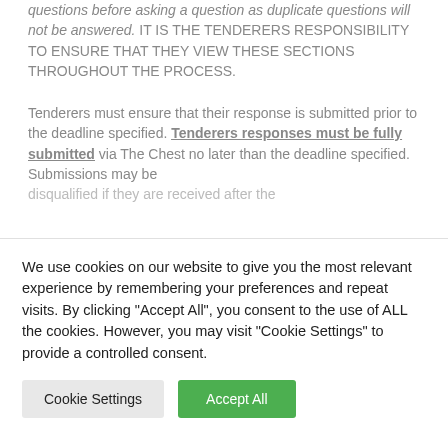questions before asking a question as duplicate questions will not be answered. IT IS THE TENDERERS RESPONSIBILITY TO ENSURE THAT THEY VIEW THESE SECTIONS THROUGHOUT THE PROCESS.
Tenderers must ensure that their response is submitted prior to the deadline specified. Tenderers responses must be fully submitted via The Chest no later than the deadline specified. Submissions may be disqualified if they are received after the
We use cookies on our website to give you the most relevant experience by remembering your preferences and repeat visits. By clicking "Accept All", you consent to the use of ALL the cookies. However, you may visit "Cookie Settings" to provide a controlled consent.